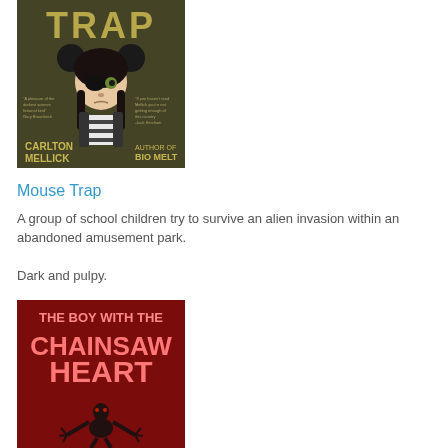[Figure (illustration): Book cover for 'Mouse Trap' by Carlton Mellick, Author of Bio Melt. Shows an animated-style girl with an eye patch, mouse ears, dark braids, and striped shirt on a dark brownish-green background. The word TRAP is visible at the top in large tan letters.]
Mouse Trap
A group of school children try to survive an alien invasion within an abandoned amusement park.
Dark and pulpy.
[Figure (illustration): Book cover for 'The Boy with the Chainsaw Heart'. Shows large pink block letters on a red background with a dark skeletal creature figure below the title text.]